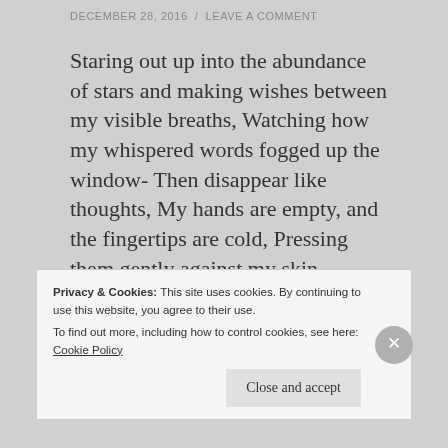DECEMBER 28, 2016 / LEAVE A COMMENT
Staring out up into the abundance of stars and making wishes between my visible breaths, Watching how my whispered words fogged up the window- Then disappear like thoughts, My hands are empty, and the fingertips are cold, Pressing them gently against my skin- sending shivers like ripples over a calmed sea. My favourite book lies ...
Continue reading
Privacy & Cookies: This site uses cookies. By continuing to use this website, you agree to their use.
To find out more, including how to control cookies, see here: Cookie Policy
Close and accept